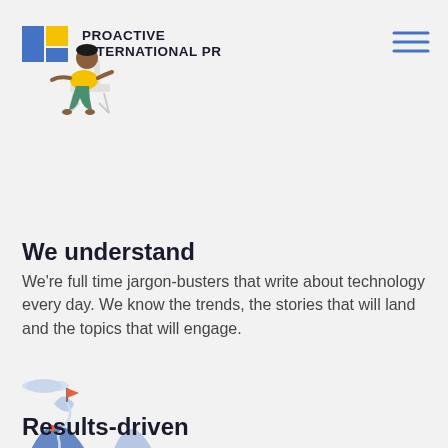PROACTIVE INTERNATIONAL PR
[Figure (illustration): Logo with blue and yellow rectangular icon and person sitting on chair illustration]
[Figure (illustration): Hamburger menu icon with three horizontal blue lines]
We understand
We're full time jargon-busters that write about technology every day. We know the trends, the stories that will land and the topics that will engage.
[Figure (illustration): Mountain path illustration with flags and winding road in blue tones]
Results-driven